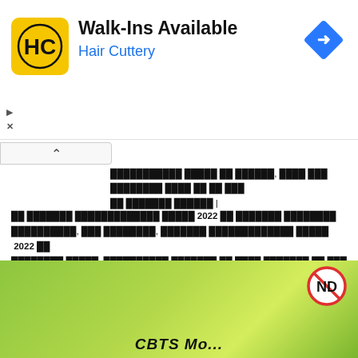[Figure (advertisement): Hair Cuttery advertisement banner with logo (HC in yellow square), bold text 'Walk-Ins Available', blue text 'Hair Cuttery', and blue diamond arrow icon on the right.]
...xxxxxxxxxx xxxxx xx xxxxxxx, xxxx xxx xxxxxxxx xxxx xx xx xxx xx xxxxxxx xxxxxx |
xx xxxxxxxx xxxxxxxxxxxx xxxxx 2022 xx xxxxxxx xxxxxxxx xxxxxxxxxx, xxx xxxxxxxxx, xxxxxxxx xxxxxxxxxxxx xxxxx 2022 xx xxxxxxxx xxxxx, xxxxxxxxxx xxxxxxx xx xxxx xxxxxxx xx xxx xx xx xxx xx xxxx xxx | xxxx xxxx xxxxxxxxx xxxxxxxxxxxxx xxxxx 2022 xx xxxx xxxxxxxx xxx xxx |
[Figure (other): Green gradient background image with ND logo badge in upper right corner, and partial text 'CBTS Mo...' at the bottom (cut off).]